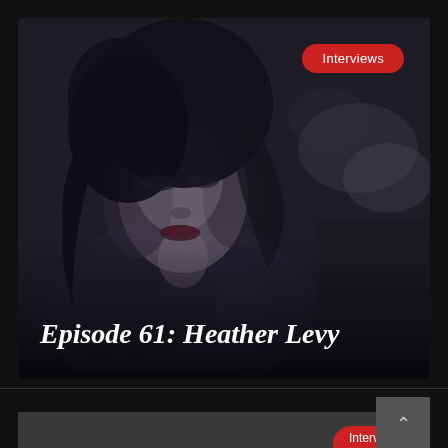[Figure (photo): Dark, moody black-and-white portrait of a woman with dark hair, wearing a floral top/dress, photographed in low light with a dark background. She is looking slightly upward and to the side.]
Interviews
Episode 61: Heather Levy